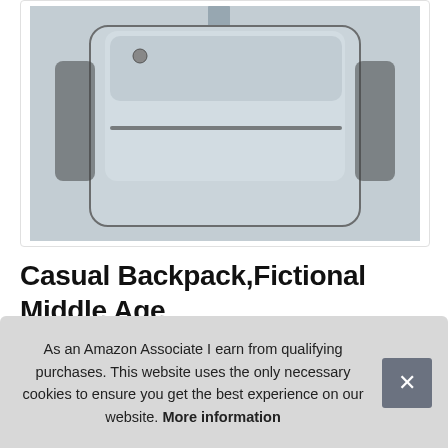[Figure (photo): Product photo of a casual backpack featuring a fictional middle age mythical stone backdrop design with a column, vase, and stone bench. The backpack is photographed from the front, showing black mesh side pockets.]
Casual Backpack,Fictional Middle Age My... Sc...
As an Amazon Associate I earn from qualifying purchases. This website uses the only necessary cookies to ensure you get the best experience on our website. More information
#ad